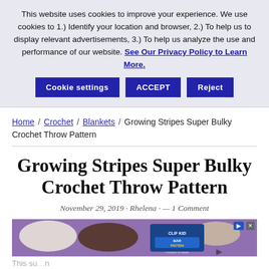This website uses cookies to improve your experience. We use cookies to 1.) Identify your location and browser, 2.) To help us to display relevant advertisements, 3.) To help us analyze the use and performance of our website. See Our Privacy Policy to Learn More.
Cookie settings | ACCEPT | Reject
Home / Crochet / Blankets / Growing Stripes Super Bulky Crochet Throw Pattern
Growing Stripes Super Bulky Crochet Throw Pattern
November 29, 2019 · Rhelena · — 1 Comment
[Figure (photo): Advertisement banner showing protein bar product (CLIF Kid, Protein Bars, Cookies N Creme) with food items on purple background]
This su... n